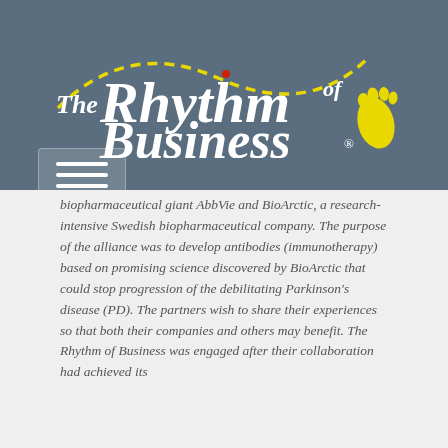[Figure (logo): The Rhythm of Business logo — stylized text with a yellow footprint and dashed curved line on a slate blue background]
biopharmaceutical giant AbbVie and BioArctic, a research-intensive Swedish biopharmaceutical company. The purpose of the alliance was to develop antibodies (immunotherapy) based on promising science discovered by BioArctic that could stop progression of the debilitating Parkinson's disease (PD). The partners wish to share their experiences so that both their companies and others may benefit. The Rhythm of Business was engaged after their collaboration had achieved its